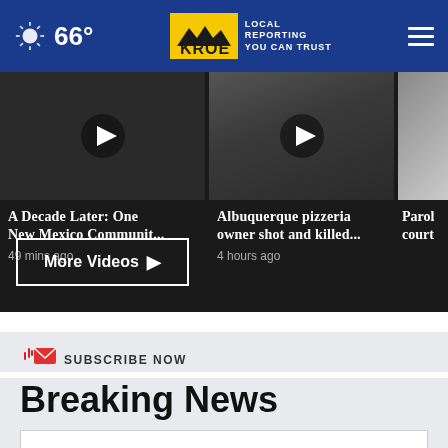66° KRQE LOCAL REPORTING YOU CAN TRUST
[Figure (screenshot): Video thumbnails carousel showing three news video cards: 'A Decade Later: One New Mexico Communit...' (49 mins ago), 'Albuquerque pizzeria owner shot and killed...' (4 hours ago), and a partially visible third card starting with 'Parol...' and 'court...']
More Videos ▸
SUBSCRIBE NOW
Breaking News
Your email